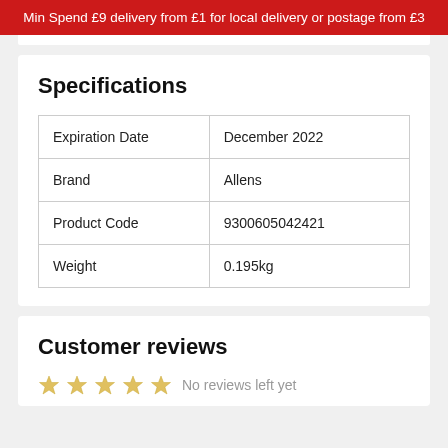Min Spend £9 delivery from £1 for local delivery or postage from £3
Specifications
|  |  |
| --- | --- |
| Expiration Date | December 2022 |
| Brand | Allens |
| Product Code | 9300605042421 |
| Weight | 0.195kg |
Customer reviews
No reviews left yet